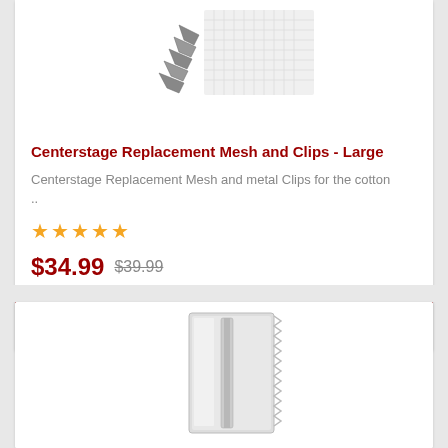[Figure (photo): Product photo of Centerstage Replacement Mesh and Clips - Large, showing metal clips and mesh material]
Centerstage Replacement Mesh and Clips - Large
Centerstage Replacement Mesh and metal Clips for the cotton ..
★★★★★ (5 stars)
$34.99  $39.99
[Figure (photo): Product photo of a second item, showing a white/silver rectangular product]